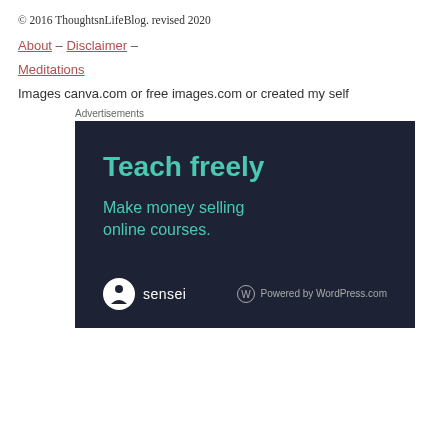© 2016 ThoughtsnLifeBlog. revised 2020
About – Disclaimer –
Meditations
Images canva.com or free images.com or created my self
Advertisements
[Figure (screenshot): Advertisement banner with dark navy background. Large teal text reads 'Teach freely'. Below in smaller teal text: 'Make money selling online courses.' At the bottom left: Sensei logo (circle icon with tree and person) and 'sensei' text. Bottom right: WordPress logo and 'Powered by WordPress.com' text.]